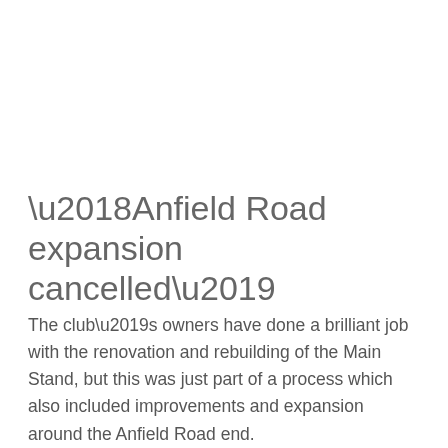‘Anfield Road expansion cancelled’
The club’s owners have done a brilliant job with the renovation and rebuilding of the Main Stand, but this was just part of a process which also included improvements and expansion around the Anfield Road end.